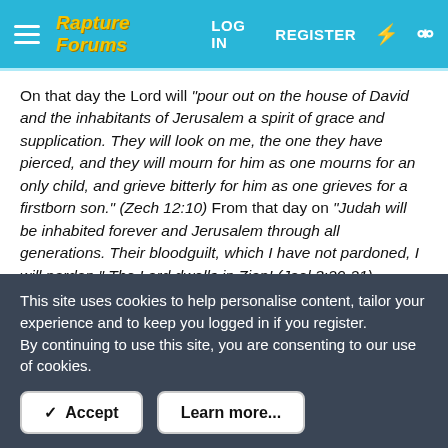Rapture Forums — LOG IN  REGISTER
On that day the Lord will "pour out on the house of David and the inhabitants of Jerusalem a spirit of grace and supplication. They will look on me, the one they have pierced, and they will mourn for him as one mourns for an only child, and grieve bitterly for him as one grieves for a firstborn son." (Zech 12:10) From that day on "Judah will be inhabited forever and Jerusalem through all generations. Their bloodguilt, which I have not pardoned, I will pardon." The Lord dwells in Zion! (Joel 3:20-21)

"Did they stumble so as to fall beyond recovery? Not at all! Rather, because of their transgression, salvation has come to
This site uses cookies to help personalise content, tailor your experience and to keep you logged in if you register.
By continuing to use this site, you are consenting to our use of cookies.